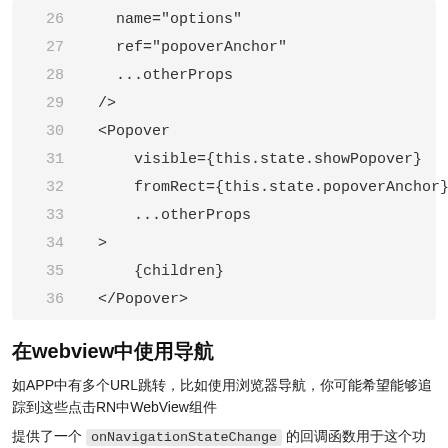26    name="options"
27    ref="popoverAnchor"
28    ...otherProps
29  />
30  <Popover
31      visible={this.state.showPopover}
32      fromRect={this.state.popoverAnchor}
33      ...otherProps
34  >
35      {children}
36  </Popover>
在webview中使用导航
如果APP中有多个URL跳转，比如使用浏览器导航，你可能希望能够追踪到这些点击RN中WebView组件
提供了一个 onNavigationStateChange 的回调函数用于这个功能，你可以通过
navigation.setParams 更新导航参数
1  ...